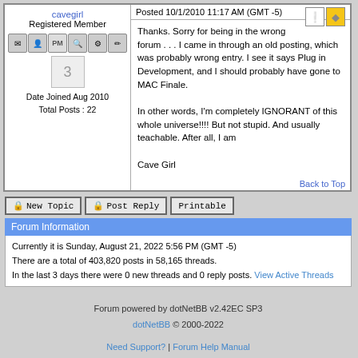cavegirl
Registered Member
[Figure (screenshot): User action icons row: email, profile, PM, search, settings, edit buttons]
[Figure (illustration): Avatar: number 3 in a decorative style]
Date Joined Aug 2010
Total Posts : 22
Posted 10/1/2010 11:17 AM (GMT -5)
Thanks. Sorry for being in the wrong forum . . . I came in through an old posting, which was probably wrong entry. I see it says Plug in Development, and I should probably have gone to MAC Finale.

In other words, I'm completely IGNORANT of this whole universe!!!! But not stupid. And usually teachable. After all, I am

Cave Girl
Back to Top
New Topic   Post Reply   Printable
Forum Information
Currently it is Sunday, August 21, 2022 5:56 PM (GMT -5)
There are a total of 403,820 posts in 58,165 threads.
In the last 3 days there were 0 new threads and 0 reply posts. View Active Threads
Forum powered by dotNetBB v2.42EC SP3
dotNetBB © 2000-2022
Need Support? | Forum Help Manual